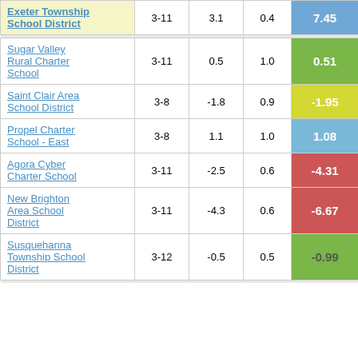| School/District | Grades | Col3 | Col4 | Score |
| --- | --- | --- | --- | --- |
| Exeter Township School District | 3-11 | 3.1 | 0.4 | 7.45 |
| Sugar Valley Rural Charter School | 3-11 | 0.5 | 1.0 | 0.51 |
| Saint Clair Area School District | 3-8 | -1.8 | 0.9 | -1.95 |
| Propel Charter School - East | 3-8 | 1.1 | 1.0 | 1.08 |
| Agora Cyber Charter School | 3-11 | -2.5 | 0.6 | -4.31 |
| New Brighton Area School District | 3-11 | -4.3 | 0.6 | -6.67 |
| Susquehanna Township School District | 3-12 | -0.5 | 0.5 | -0.99 |